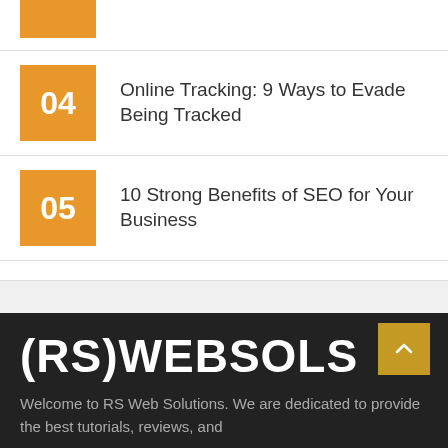04 Online Tracking: 9 Ways to Evade Being Tracked
05 10 Strong Benefits of SEO for Your Business
[Figure (logo): (RS)WEBSOLS logo in white bold text on dark background]
Welcome to RS Web Solutions. We are dedicated to provide the best tutorials, reviews, and